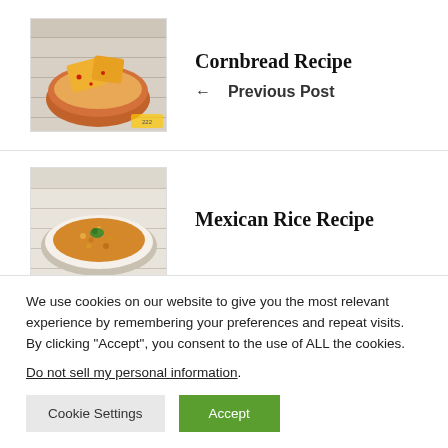[Figure (photo): Photo of cornbread pieces in an orange clay bowl on a wooden surface]
Cornbread Recipe
← Previous Post
[Figure (photo): Photo of Mexican rice on a white plate with garnish]
Mexican Rice Recipe
We use cookies on our website to give you the most relevant experience by remembering your preferences and repeat visits. By clicking "Accept", you consent to the use of ALL the cookies.
Do not sell my personal information.
Cookie Settings
Accept